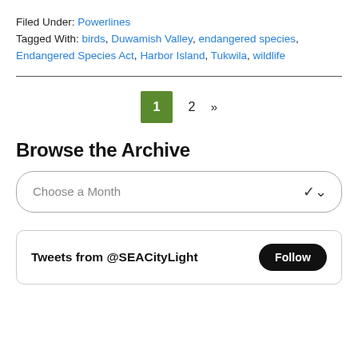Filed Under: Powerlines
Tagged With: birds, Duwamish Valley, endangered species, Endangered Species Act, Harbor Island, Tukwila, wildlife
1  2  »
Browse the Archive
Choose a Month
Tweets from @SEACityLight  Follow